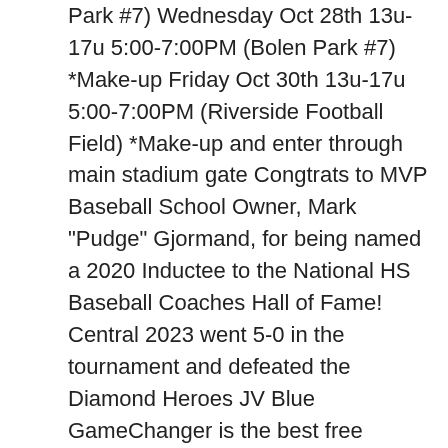Park #7) Wednesday Oct 28th 13u-17u 5:00-7:00PM (Bolen Park #7) *Make-up Friday Oct 30th 13u-17u 5:00-7:00PM (Riverside Football Field) *Make-up and enter through main stadium gate Congtrats to MVP Baseball School Owner, Mark "Pudge" Gjormand, for being named a 2020 Inductee to the National HS Baseball Coaches Hall of Fame! Central 2023 went 5-0 in the tournament and defeated the Diamond Heroes JV Blue GameChanger is the best free mobile Prep Baseball scorekeeping application, used by teams like Elite to share live scores with fans. There will be tournament passes sold (cash only). Kellen Payne High School Spring Team. Credits may be applied in circumstances in which a player becomes injured and not medically cleared to play. US Elite Georgia 2021 Tryout Tryouts US Elite Georgia Fall 2020 & spring/summer 2021 9U - Roberts Saturday August 8 10:00am Jefferson Parks and Recreation